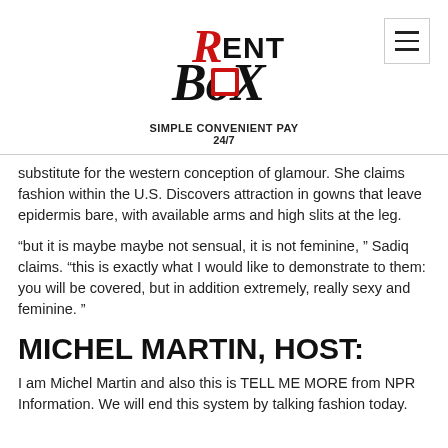[Figure (logo): RentBox logo with red and black stylized text, tagline SIMPLE CONVENIENT PAY 24/7]
substitute for the western conception of glamour. She claims fashion within the U.S. Discovers attraction in gowns that leave epidermis bare, with available arms and high slits at the leg.
“but it is maybe maybe not sensual, it is not feminine, ” Sadiq claims. “this is exactly what I would like to demonstrate to them: you will be covered, but in addition extremely, really sexy and feminine. ”
MICHEL MARTIN, HOST:
I am Michel Martin and also this is TELL ME MORE from NPR Information. We will end this system by talking fashion today.